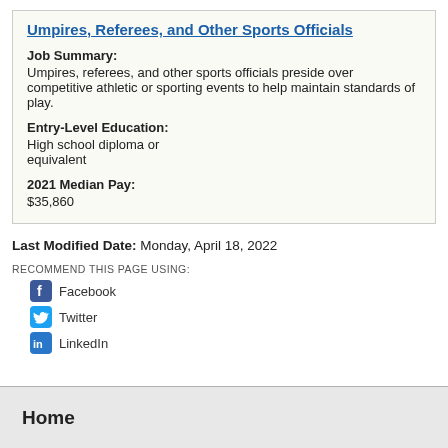Umpires, Referees, and Other Sports Officials
Job Summary:
Umpires, referees, and other sports officials preside over competitive athletic or sporting events to help maintain standards of play.
Entry-Level Education:
High school diploma or equivalent
2021 Median Pay:
$35,860
Last Modified Date: Monday, April 18, 2022
RECOMMEND THIS PAGE USING:
Facebook
Twitter
LinkedIn
Home